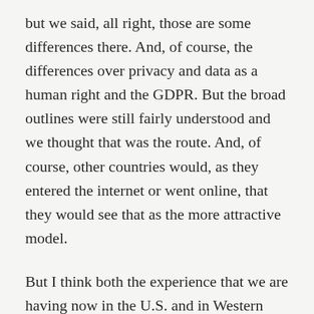but we said, all right, those are some differences there. And, of course, the differences over privacy and data as a human right and the GDPR. But the broad outlines were still fairly understood and we thought that was the route. And, of course, other countries would, as they entered the internet or went online, that they would see that as the more attractive model.
But I think both the experience that we are having now in the U.S. and in Western Europe more broadly about how do we think about information operations and the rumors and fake news and all those others and the economic costs of sending all your data to multinationals that are based in Silicon